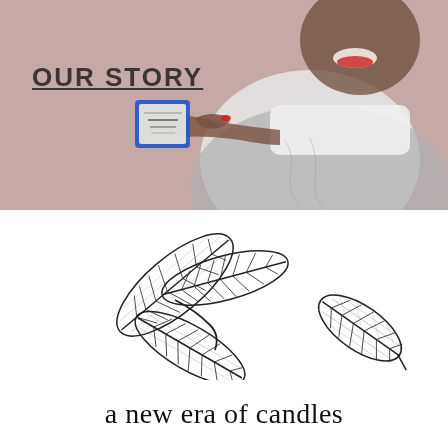[Figure (photo): Photo of a smiling Black woman in a grey sweater holding and pointing to a small blue-framed label/product, set against a dusty rose/taupe background. 'OUR STORY' text with underline overlays the top-left of the image.]
OUR STORY
[Figure (illustration): Black and white ink illustrations of decorative leaves: a branch with three leaves on the left, and a single leaf on the right, drawn in a detailed botanical sketch style.]
a new era of candles